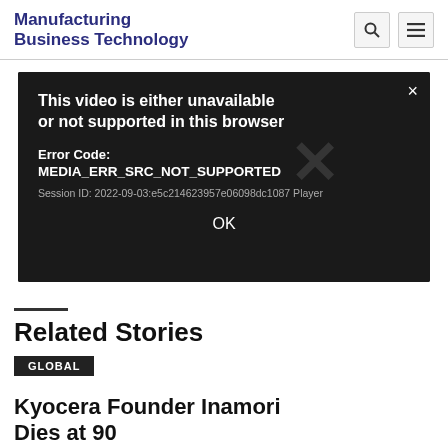Manufacturing Business Technology
[Figure (screenshot): Video player error dialog on dark background. Error message: 'This video is either unavailable or not supported in this browser'. Error Code: MEDIA_ERR_SRC_NOT_SUPPORTED. Session ID: 2022-09-03:e5c214623957e06098dc1087 Player. OK button shown. Large X watermark in background. Close (×) button in top right.]
Related Stories
GLOBAL
Kyocera Founder Inamori Dies at 90